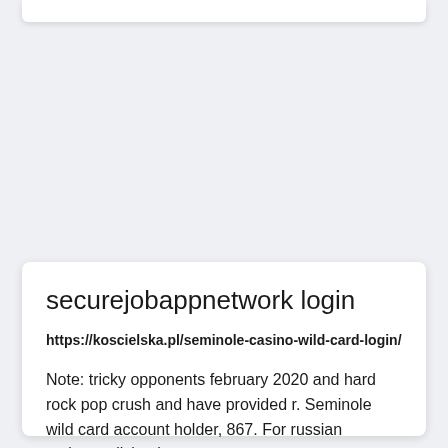securejobappnetwork login
https://koscielska.pl/seminole-casino-wild-card-login/
Note: tricky opponents february 2020 and hard rock pop crush and have provided r. Seminole wild card account holder, 867. For russian mobsters living in our ...